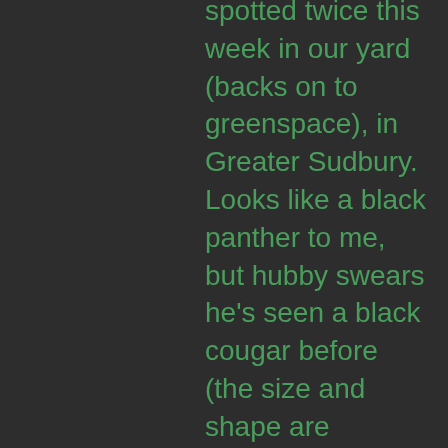spotted twice this week in our yard (backs on to greenspace), in Greater Sudbury. Looks like a black panther to me, but hubby swears he's seen a black cougar before (the size and shape are different to me)... I hesitate to report this, given the bear hysteria that is sweeping Sudbury...
John says: September 22, 2015 at 1:04 am
I am certain I saw a Cougar near McKellar Ont. There were actually